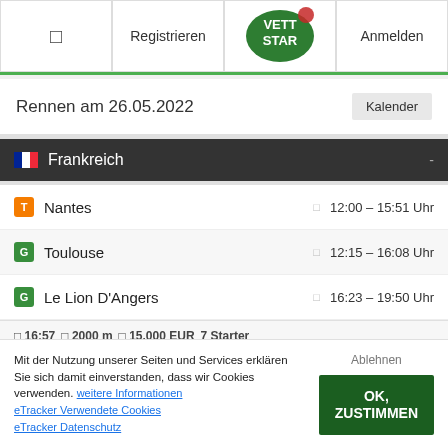□  Registrieren  WETTSTAR  Anmelden
Rennen am 26.05.2022
Frankreich
T  Nantes  □  12:00 – 15:51 Uhr
G  Toulouse  □  12:15 – 16:08 Uhr
G  Le Lion D'Angers  □  16:23 – 19:50 Uhr
□ 16:57  □ 2000 m  □ 15.000 EUR  7 Starter
Mit der Nutzung unserer Seiten und Services erklären Sie sich damit einverstanden, dass wir Cookies verwenden. weitere Informationen eTracker Verwendete Cookies eTracker Datenschutz